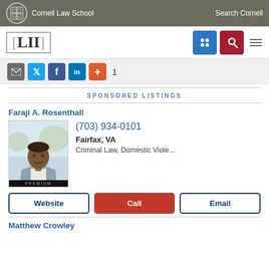Cornell Law School   Search Cornell
[Figure (logo): LII Legal Information Institute logo with navigation icons]
[Figure (infographic): Social share bar with email, Twitter, Facebook, LinkedIn, plus icons and count 1]
SPONSORED LISTINGS
Faraji A. Rosenthall
[Figure (photo): Portrait photo of Faraji A. Rosenthall with PREMIUM badge]
(703) 934-0101
Fairfax, VA
Criminal Law, Domestic Viole...
Website   Call   Email
Matthew Crowley